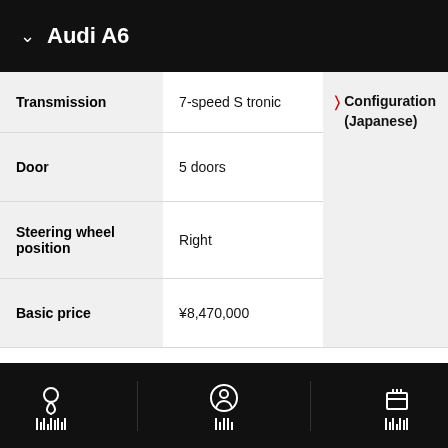Audi A6
|  |  |  |
| --- | --- | --- |
| Transmission | 7-speed S tronic | Configuration (Japanese) |
| Door | 5 doors |  |
| Steering wheel position | Right |  |
| Basic price | ¥8,470,000 |  |
Audi A6 Avant 55 TFSI quattro S line